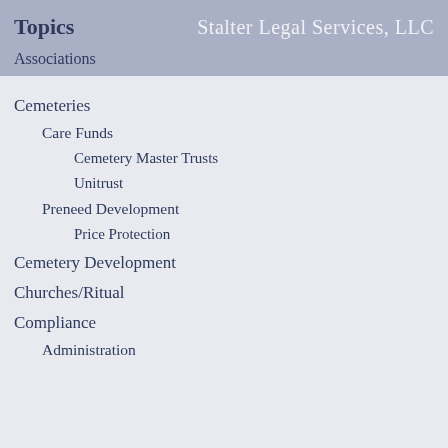Topics   Stalter Legal Services, LLC
Associations
Cemeteries
Care Funds
Cemetery Master Trusts
Unitrust
Preneed Development
Price Protection
Cemetery Development
Churches/Ritual
Compliance
Administration